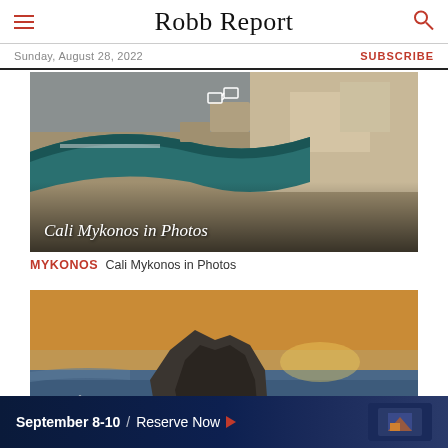Robb Report
Sunday, August 28, 2022   SUBSCRIBE
[Figure (photo): Aerial view of Cali Mykonos resort with infinity pool along cliff edge and stone architecture, with caption 'Cali Mykonos in Photos']
MYKONOS Cali Mykonos in Photos
[Figure (photo): Santorini-style photo with white buildings in foreground, dramatic rocky cliff/skaros rock in center, golden sunset over the Aegean Sea in background]
[Figure (other): Advertisement banner: September 8-10 / Reserve Now with arrow button and hotel/resort image on right]